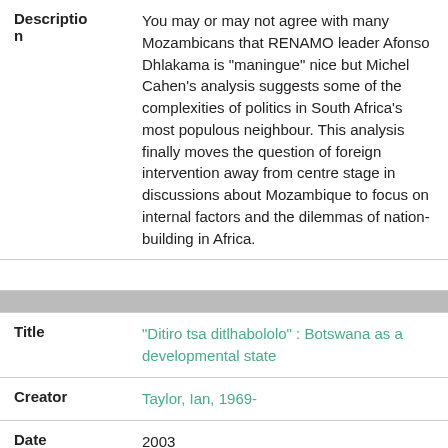| Field | Value |
| --- | --- |
| Description | You may or may not agree with many Mozambicans that RENAMO leader Afonso Dhlakama is "maningue" nice but Michel Cahen's analysis suggests some of the complexities of politics in South Africa's most populous neighbour. This analysis finally moves the question of foreign intervention away from centre stage in discussions about Mozambique to focus on internal factors and the dilemmas of nation-building in Africa. |
| Title | "Ditiro tsa ditlhabololo" : Botswana as a developmental state |
| Creator | Taylor, Ian, 1969- |
| Date | 2003 |
| Collection | Pula : Botswana Journal of African Studies |
| Description | Of those countries outside of Asia that |